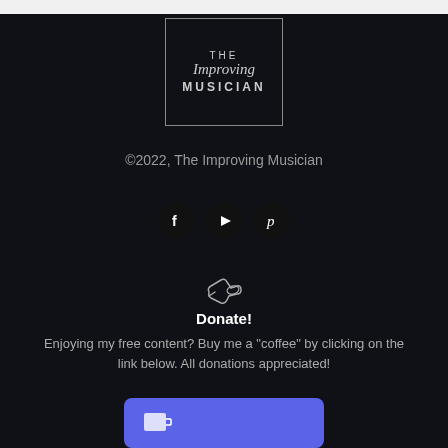[Figure (logo): The Improving Musician logo: a square border containing the text 'THE' in small caps, 'Improving' in cursive/script style, and 'MUSICIAN' in bold spaced capitals]
©2022, The Improving Musician
[Figure (infographic): Three social media icon circles: Facebook (f), YouTube (play button), Pinterest (p)]
[Figure (illustration): A hand/donation icon in grey/white]
Donate!
Enjoying my free content? Buy me a "coffee" by clicking on the link below. All donations appreciated!
[Figure (illustration): Blue donate/buy-me-a-coffee button area at bottom]